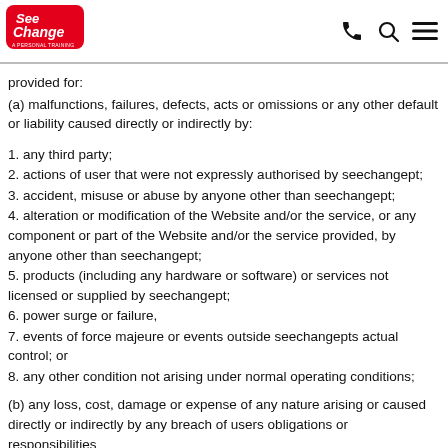See Change Personal Training logo with phone, search, and menu icons
provided for:
(a) malfunctions, failures, defects, acts or omissions or any other default or liability caused directly or indirectly by:
1. any third party;
2. actions of user that were not expressly authorised by seechangept;
3. accident, misuse or abuse by anyone other than seechangept;
4. alteration or modification of the Website and/or the service, or any component or part of the Website and/or the service provided, by anyone other than seechangept;
5. products (including any hardware or software) or services not licensed or supplied by seechangept;
6. power surge or failure,
7. events of force majeure or events outside seechangepts actual control; or
8. any other condition not arising under normal operating conditions;
(b) any loss, cost, damage or expense of any nature arising or caused directly or indirectly by any breach of users obligations or responsibilities under these Terms of Use.